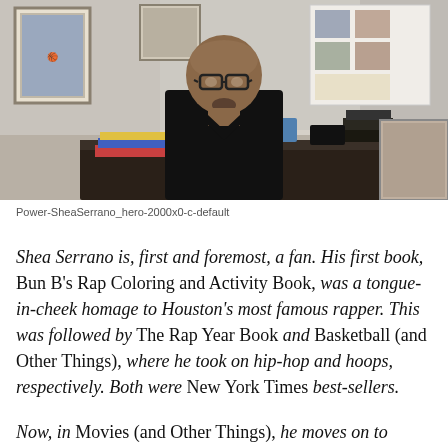[Figure (photo): Portrait photo of Shea Serrano, a bald man wearing glasses and a black shirt, standing in front of a desk in an office with framed pictures and photos on the wall behind him.]
Power-SheaSerrano_hero-2000x0-c-default
Shea Serrano is, first and foremost, a fan. His first book, Bun B's Rap Coloring and Activity Book, was a tongue-in-cheek homage to Houston's most famous rapper. This was followed by The Rap Year Book and Basketball (and Other Things), where he took on hip-hop and hoops, respectively. Both were New York Times best-sellers.
Now, in Movies (and Other Things), he moves on to Hollywood. In the book, the Mexican American Serrano, 38, is a vocal fan of movies others might deem bad, but he